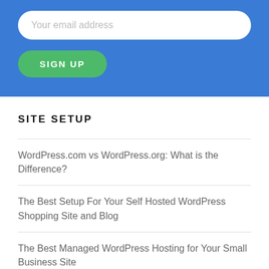[Figure (screenshot): Blue background email sign-up form section with a white rounded input field placeholder 'Your email address' and a green rounded 'SIGN UP' button]
SITE SETUP
WordPress.com vs WordPress.org: What is the Difference?
The Best Setup For Your Self Hosted WordPress Shopping Site and Blog
The Best Managed WordPress Hosting for Your Small Business Site